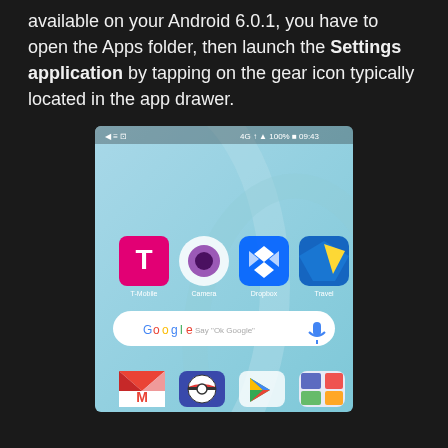available on your Android 6.0.1, you have to open the Apps folder, then launch the Settings application by tapping on the gear icon typically located in the app drawer.
[Figure (screenshot): Android 6.0.1 home screen showing T-Mobile, Camera, Dropbox, and another app icons in a row, a Google search bar with 'Say Ok Google' and microphone icon, and partial bottom row with Gmail, Pokémon Go, Google Play, and another app. Status bar shows 100% battery and time 09:43.]